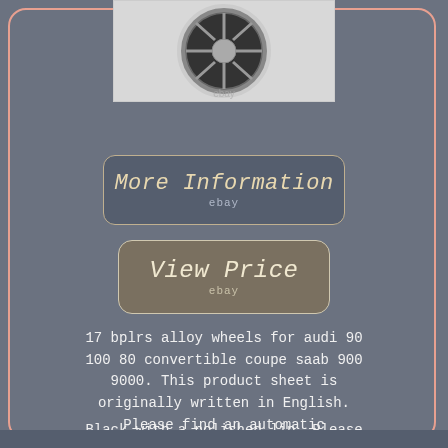[Figure (photo): Alloy wheel product photo showing a black and chrome multi-spoke wheel with polished lip, watermarked with 'ebay']
[Figure (screenshot): Button styled element reading 'More Information' with 'ebay' watermark below, on dark rounded rectangle background]
[Figure (screenshot): Button styled element reading 'View Price' with 'ebay' watermark below, on dark tan rounded rectangle background]
17 bplrs alloy wheels for audi 90 100 80 convertible coupe saab 900 9000. This product sheet is originally written in English. Please find an automatic translation in French below. If you have any questions please contact us. Complete set of 4 x 17 dare rs alloy wheels.
Black with a polished lip. Please